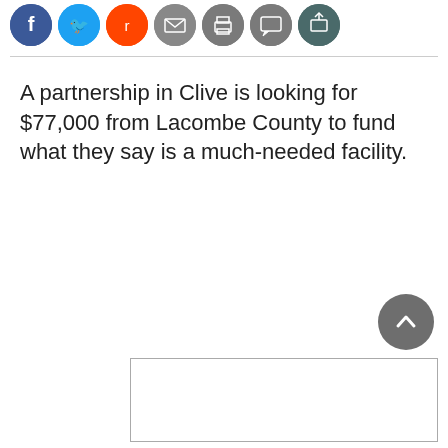[Figure (other): Row of social media sharing icon circles: Facebook (blue), Twitter (blue), Reddit (orange), email (grey), print (grey), comment (grey), share (dark teal)]
A partnership in Clive is looking for $77,000 from Lacombe County to fund what they say is a much-needed facility.
[Figure (other): Back-to-top scroll button, circular dark grey with upward chevron arrow]
[Figure (other): Advertisement box, empty white rectangle with grey border]